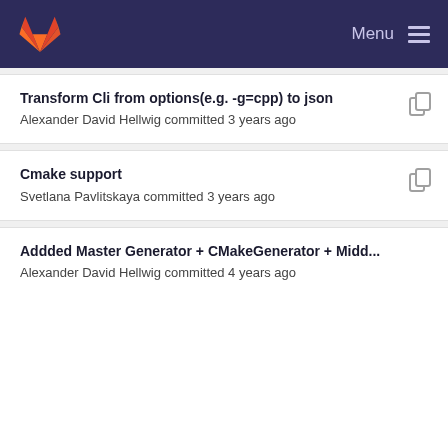GitLab — Menu
Transform Cli from options(e.g. -g=cpp) to json
Alexander David Hellwig committed 3 years ago
Cmake support
Svetlana Pavlitskaya committed 3 years ago
Addded Master Generator + CMakeGenerator + Midd...
Alexander David Hellwig committed 4 years ago
remove workaround for EMAComponentInstanceB...
Alexander David Hellwig committed 3 years ago
Update to new EMA Version
Alexander David Hellwig committed 3 years ago